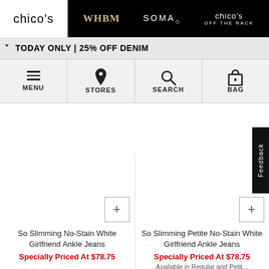chico's | WHBM | SOMA | chico's OFF THE RACK
TODAY ONLY | 25% OFF DENIM
MENU | STORES | SEARCH | BAG
[Figure (screenshot): Product listing area showing two white denim ankle jean products with + buttons]
So Slimming No-Stain White Girlfriend Ankle Jeans
Specially Priced At $78.75
So Slimming Petite No-Stain White Girlfriend Ankle Jeans
Specially Priced At $78.75
Available in Regular and Petit...